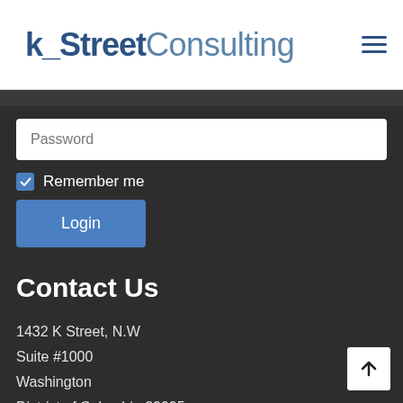k_Street Consulting
Password
Remember me
Login
Contact Us
1432 K Street, N.W
Suite #1000
Washington
District of Columbia 20005